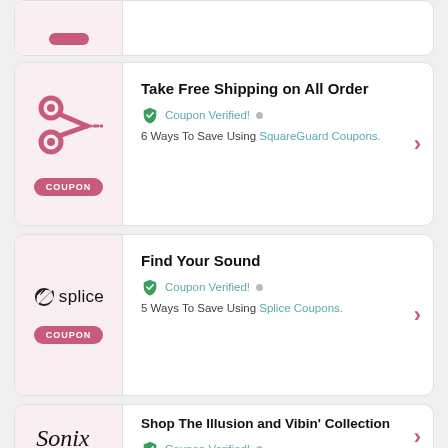[Figure (other): Partial coupon card at top, cut off]
Take Free Shipping on All Order
Coupon Verified! • 6 Ways To Save Using SquareGuard Coupons.
Find Your Sound
Coupon Verified! • 5 Ways To Save Using Splice Coupons.
Shop The Illusion and Vibin' Collection
Coupon Verified!